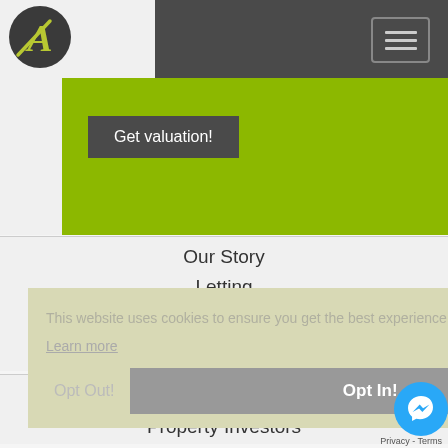[Figure (logo): Circular logo with stylized 'A' letter mark in dark gray/charcoal circle with green accent]
[Figure (screenshot): Hamburger menu button (three horizontal lines) in top right of dark header]
Get valuation!
Our Story
Letting
Letting Marketing
Make your payment
This website uses cookies to ensure you get the best experience on our website.
Learn more
Opt Out!
Opt In!
Properties
Property Investors
Privacy - Terms